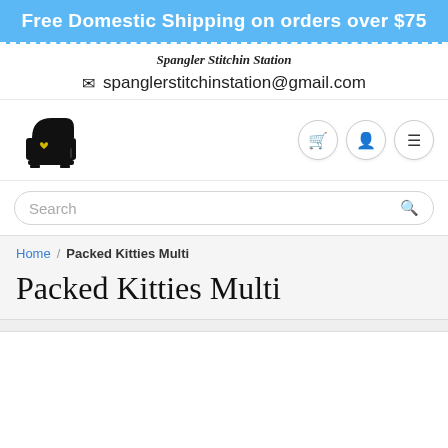Free Domestic Shipping on orders over $75
Spangler Stitchin Station
spanglerstitchinstation@gmail.com
[Figure (logo): Black sewing machine icon with a gold/yellow heart on the needle plate area]
Search
Home / Packed Kitties Multi
Packed Kitties Multi